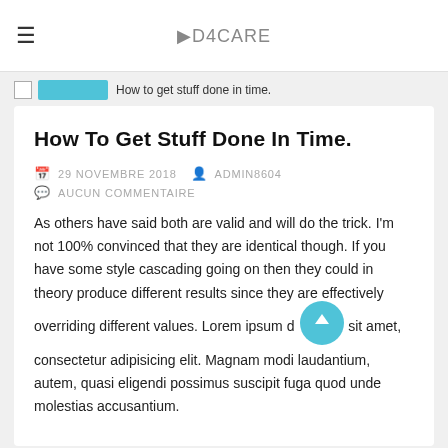D4CARE
How to get stuff done in time.
How To Get Stuff Done In Time.
29 NOVEMBRE 2018   ADMIN8604   AUCUN COMMENTAIRE
As others have said both are valid and will do the trick. I'm not 100% convinced that they are identical though. If you have some style cascading going on then they could in theory produce different results since they are effectively overriding different values. Lorem ipsum d sit amet, consectetur adipisicing elit. Magnam modi laudantium, autem, quasi eligendi possimus suscipit fuga quod unde molestias accusantium.